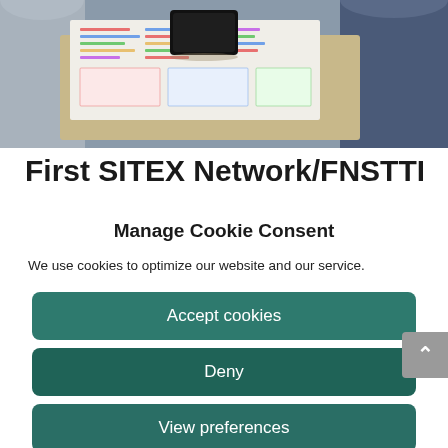[Figure (photo): Photo of a person holding a clipboard or folder with colorful charts/documents and a smartphone placed on top, photographed from above at a desk. Two people visible from torso down on either side.]
First SITEX Network/FNSTTI training
Manage Cookie Consent
We use cookies to optimize our website and our service.
Accept cookies
Deny
View preferences